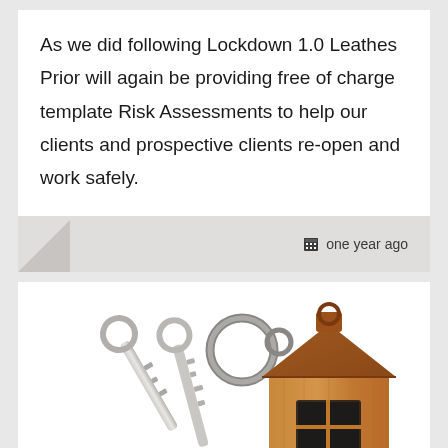As we did following Lockdown 1.0 Leathes Prior will again be providing free of charge template Risk Assessments to help our clients and prospective clients re-open and work safely.
one year ago
[Figure (photo): A wooden house-shaped keychain attached to a metal key ring with two silver keys, photographed on a white background.]